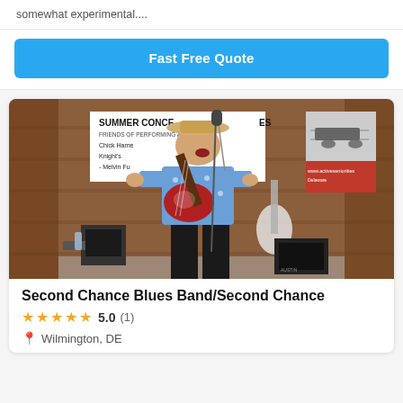somewhat experimental....
Fast Free Quote
[Figure (photo): A musician performing outdoors at a summer concert series. He is wearing a blue Hawaiian shirt and playing a red electric guitar while singing into a microphone. A 'Summer Concert Series' banner is visible in the background on a wooden wall. A white guitar is also visible in the background.]
Second Chance Blues Band/Second Chance
★★★★★ 5.0 (1)
Wilmington, DE